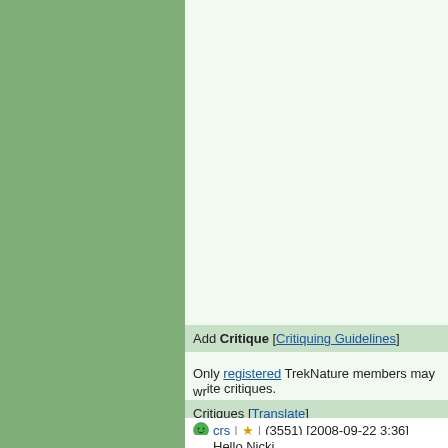[Figure (other): Left green sidebar panel]
Add Critique [Critiquing Guidelines]
Only registered TrekNature members may write critiques.
Critiques [Translate]
crs | ★ | (3551) [2008-09-22 3:36]
Hello Nicki,